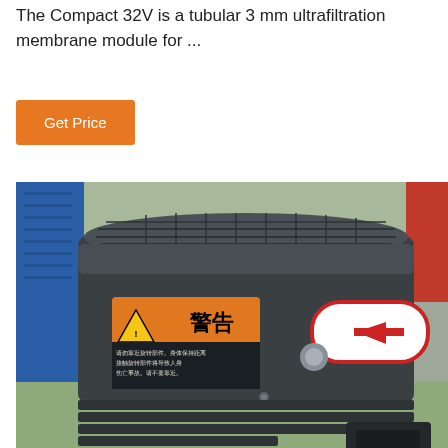The Compact 32V is a tubular 3 mm ultrafiltration membrane module for ...
Get Price
[Figure (photo): Close-up photograph of an industrial motor or pump unit with a dark grey cylindrical body, orange warning label with Chinese characters (警告), red rotation direction arrow sticker on the housing, and ribbed ventilation fins at the bottom. Blue equipment visible in background.]